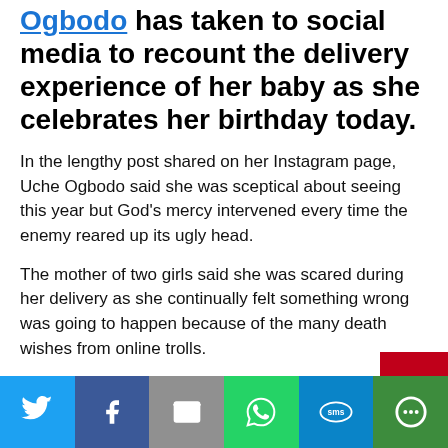Ogbodo has taken to social media to recount the delivery experience of her baby as she celebrates her birthday today.
In the lengthy post shared on her Instagram page, Uche Ogbodo said she was sceptical about seeing this year but God's mercy intervened every time the enemy reared up its ugly head.
The mother of two girls said she was scared during her delivery as she continually felt something wrong was going to happen because of the many death wishes from online trolls.